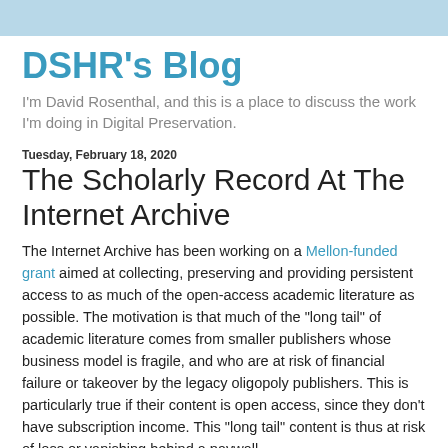DSHR's Blog
I'm David Rosenthal, and this is a place to discuss the work I'm doing in Digital Preservation.
Tuesday, February 18, 2020
The Scholarly Record At The Internet Archive
The Internet Archive has been working on a Mellon-funded grant aimed at collecting, preserving and providing persistent access to as much of the open-access academic literature as possible. The motivation is that much of the "long tail" of academic literature comes from smaller publishers whose business model is fragile, and who are at risk of financial failure or takeover by the legacy oligopoly publishers. This is particularly true if their content is open access, since they don't have subscription income. This "long tail" content is thus at risk of loss or vanishing behind a paywall.